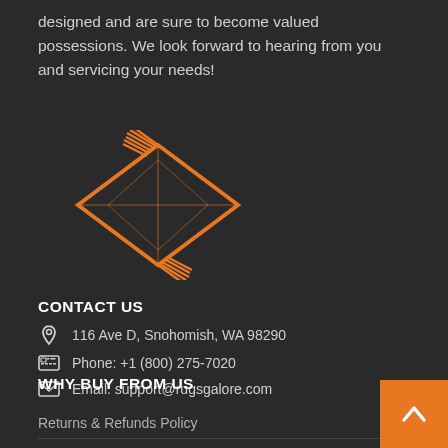designed and are sure to become valued possessions. We look forward to hearing from you and servicing your needs!
[Figure (logo): Rugs Galore logo with orange rug graphic and script text 'rugs galore Est. 1972']
CONTACT US
116 Ave D, Snohomish, WA 98290
Phone: +1 (800) 275-7020
Email: support@rugsgalore.com
WHY BUY FROM US
Returns & Refunds Policy
Privacy Policy